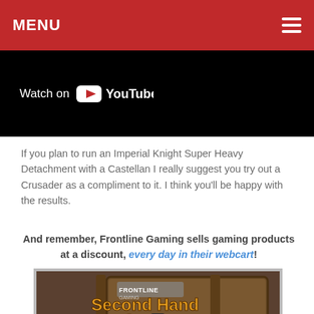MENU
[Figure (screenshot): YouTube 'Watch on YouTube' button/embed thumbnail on black background]
If you plan to run an Imperial Knight Super Heavy Detachment with a Castellan I really suggest you try out a Crusader as a compliment to it. I think you'll be happy with the results.
And remember, Frontline Gaming sells gaming products at a discount, every day in their webcart!
[Figure (illustration): Frontline Gaming Second Hand Store promotional image with cartoon goblin shopkeeper behind a wooden sign reading 'Second Hand Store']